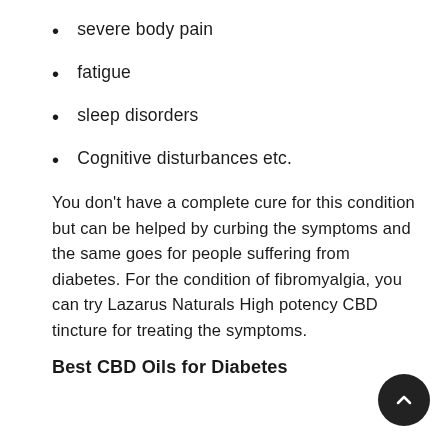severe body pain
fatigue
sleep disorders
Cognitive disturbances etc.
You don't have a complete cure for this condition but can be helped by curbing the symptoms and the same goes for people suffering from diabetes. For the condition of fibromyalgia, you can try Lazarus Naturals High potency CBD tincture for treating the symptoms.
Best CBD Oils for Diabetes